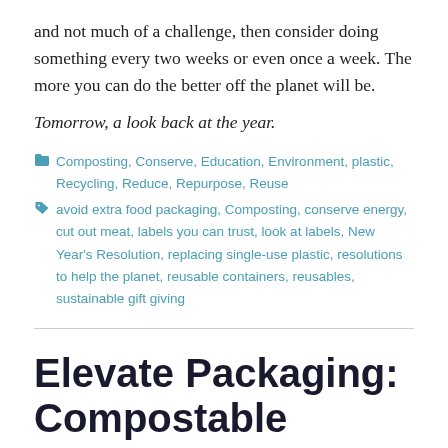and not much of a challenge, then consider doing something every two weeks or even once a week. The more you can do the better off the planet will be.
Tomorrow, a look back at the year.
Composting, Conserve, Education, Environment, plastic, Recycling, Reduce, Repurpose, Reuse
avoid extra food packaging, Composting, conserve energy, cut out meat, labels you can trust, look at labels, New Year's Resolution, replacing single-use plastic, resolutions to help the planet, reusable containers, reusables, sustainable gift giving
Elevate Packaging: Compostable